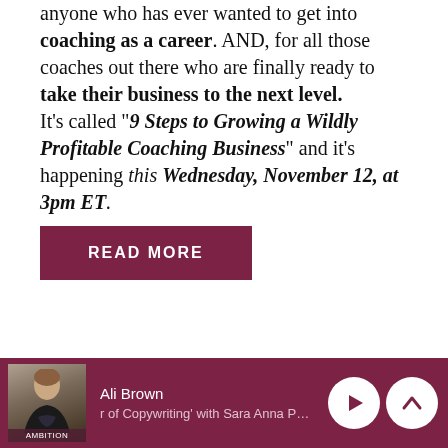anyone who has ever wanted to get into coaching as a career. AND, for all those coaches out there who are finally ready to take their business to the next level.

It’s called “9 Steps to Growing a Wildly Profitable Coaching Business” and it’s happening this Wednesday, November 12, at 3pm ET.
READ MORE
[Figure (screenshot): Media player footer bar with Ali Brown photo/logo thumbnail, name 'Ali Brown', episode title truncated '...r of Copywriting' with Sara Anna Pow...', play button and chevron-up button on dark maroon background]